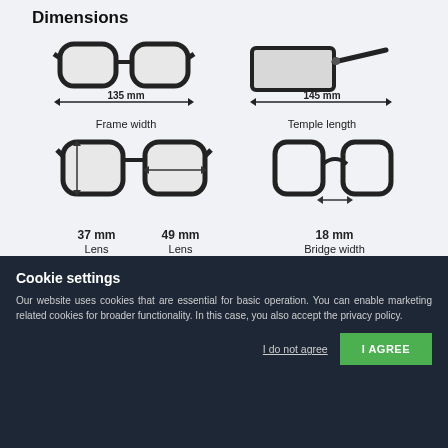Dimensions
[Figure (engineering-diagram): Four eyeglass frame diagrams showing dimensions: Frame width 135mm (front view), Temple length 145mm (side view), Lens height 37mm and Lens width 49mm (front view with arrows), Bridge width 18mm (front view showing bridge area)]
Informations
Service Client
Livraison et Formulaire de Paiement
Politique de Confidentialité
Comprendre votre ordonnance
Cookie settings

Our website uses cookies that are essential for basic operation. You can enable marketing related cookies for broader functionality. In this case, you also accept the privacy policy.